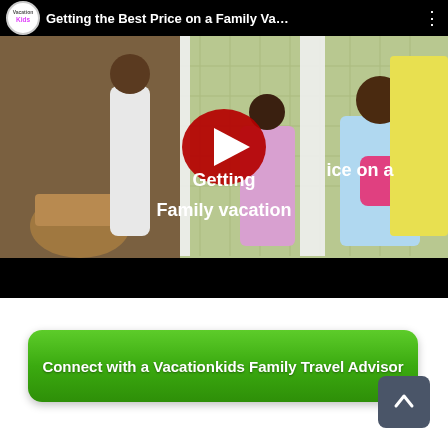[Figure (screenshot): YouTube video thumbnail showing a family at a tropical accommodation. Title overlay reads 'Getting…ice on a Family vacation'. A red YouTube play button is centered. Top bar shows Vacation Kids logo and video title 'Getting the Best Price on a Family Va…'. Bottom black control bar visible.]
Connect with a Vacationkids Family Travel Advisor